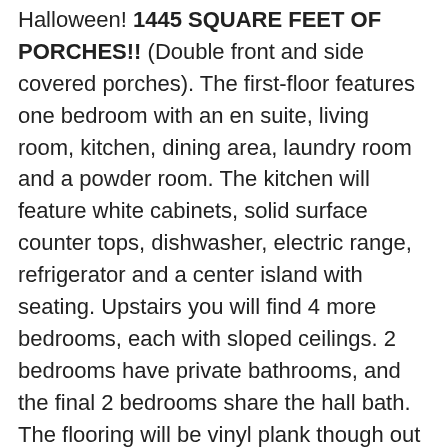Halloween! 1445 SQUARE FEET OF PORCHES!! (Double front and side covered porches). The first-floor features one bedroom with an en suite, living room, kitchen, dining area, laundry room and a powder room. The kitchen will feature white cabinets, solid surface counter tops, dishwasher, electric range, refrigerator and a center island with seating. Upstairs you will find 4 more bedrooms, each with sloped ceilings. 2 bedrooms have private bathrooms, and the final 2 bedrooms share the hall bath. The flooring will be vinyl plank though out which is not just aesthetically pleasing but also durable and waterproof. There is still time to pick colors if you act fast. A 2002 Club Car with new batteries, will convey with home.